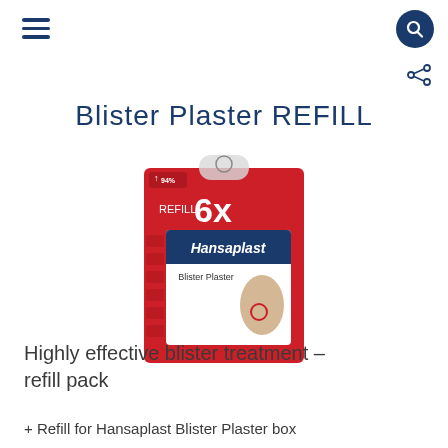Navigation header with hamburger menu and search button
Blister Plaster REFILL
[Figure (photo): Product packaging photo of Hansaplast Blister Plaster REFILL 6x pack, red box with image of plaster on heel]
Highly effective blister treatment – refill pack
Refill for Hansaplast Blister Plaster box